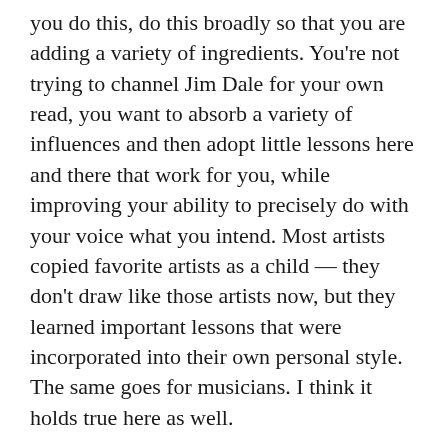you do this, do this broadly so that you are adding a variety of ingredients. You're not trying to channel Jim Dale for your own read, you want to absorb a variety of influences and then adopt little lessons here and there that work for you, while improving your ability to precisely do with your voice what you intend. Most artists copied favorite artists as a child — they don't draw like those artists now, but they learned important lessons that were incorporated into their own personal style. The same goes for musicians. I think it holds true here as well.
20) When voicing dialogue, I think it is useful to have a mental movie image of what is going on. Where are the characters relative to one another when they are speaking? What are